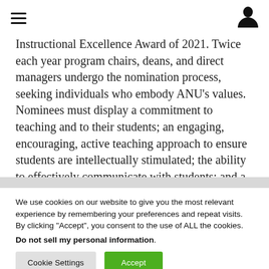[hamburger menu icon] [user profile icon]
Instructional Excellence Award of 2021. Twice each year program chairs, deans, and direct managers undergo the nomination process, seeking individuals who embody ANU's values. Nominees must display a commitment to teaching and to their students; an engaging, encouraging, active teaching approach to ensure students are intellectually stimulated; the ability to effectively communicate with students; and a positive, lasting
We use cookies on our website to give you the most relevant experience by remembering your preferences and repeat visits. By clicking "Accept", you consent to the use of ALL the cookies. Do not sell my personal information.